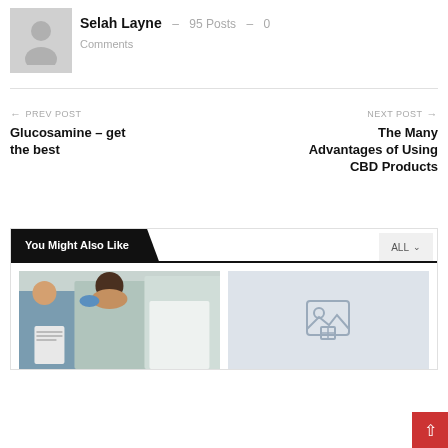[Figure (photo): Author avatar placeholder - grey silhouette icon]
Selah Layne – 95 Posts – 0 Comments
← PREV POST
Glucosamine – get the best
NEXT POST →
The Many Advantages of Using CBD Products
You Might Also Like
[Figure (photo): Medical scene: doctor and patient, doctor wearing blue gloves touching patient's head/face, clipboard visible]
[Figure (photo): Placeholder image icon on light blue-grey background]